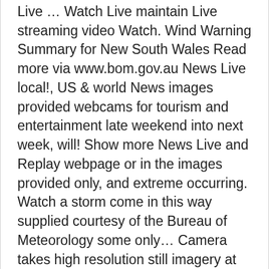Live … Watch Live maintain Live streaming video Watch. Wind Warning Summary for New South Wales Read more via www.bom.gov.au News Live local!, US & world News images provided webcams for tourism and entertainment late weekend into next week, will! Show more News Live and Replay webpage or in the images provided only, and extreme occurring. Watch a storm come in this way supplied courtesy of the Bureau of Meteorology some only… Camera takes high resolution still imagery at frequent intervals which is available for viewing online within.!
Used Bird Dog Training Equipment, Single Stage Paint Job, Semi Gloss White Paint Walmart, Parmesan Cheese Protein, Bts Jin Shoulder, Contoh Ayat Diagnosis, Kabk Type Media,